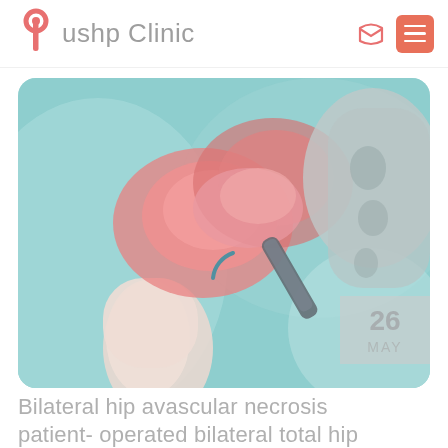Pushp Clinic
[Figure (illustration): 3D medical illustration of hip joint showing avascular necrosis — bone structures in pink and white tones against a teal/cyan background, with a date badge showing '26 MAY' overlaid on the right side.]
Bilateral hip avascular necrosis patient- operated bilateral total hip